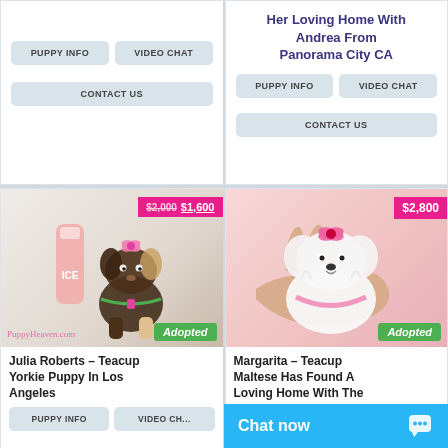Her Loving Home With Andrea From Panorama City CA
PUPPY INFO | VIDEO CHAT | CONTACT US
PUPPY INFO | VIDEO CHAT | CONTACT US (left card top)
[Figure (photo): Teacup Yorkie puppy with pink bow sitting next to a pink ICE bottle. Price tag showing $2,000 strikethrough and $1,600. Adopted badge. PuppyHeaven.com watermark.]
Julia Roberts – Teacup Yorkie Puppy In Los Angeles
PUPPY INFO  VIDEO CH...
[Figure (photo): White teacup Maltese puppy with pink bow on head sitting on a hand over pink background. Price tag $2,800. Adopted badge.]
Margarita – Teacup Maltese Has Found A Loving Home With The Knowles Family In Las...
Chat now